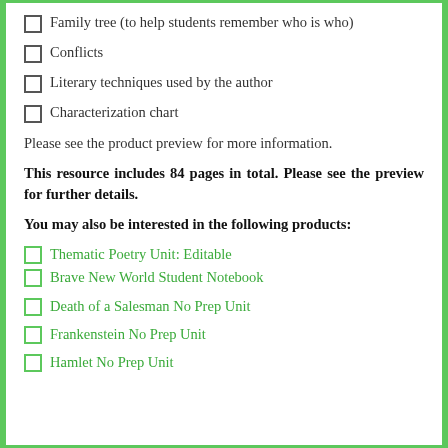Family tree (to help students remember who is who)
Conflicts
Literary techniques used by the author
Characterization chart
Please see the product preview for more information.
This resource includes 84 pages in total. Please see the preview for further details.
You may also be interested in the following products:
Thematic Poetry Unit: Editable
Brave New World Student Notebook
Death of a Salesman No Prep Unit
Frankenstein No Prep Unit
Hamlet No Prep Unit